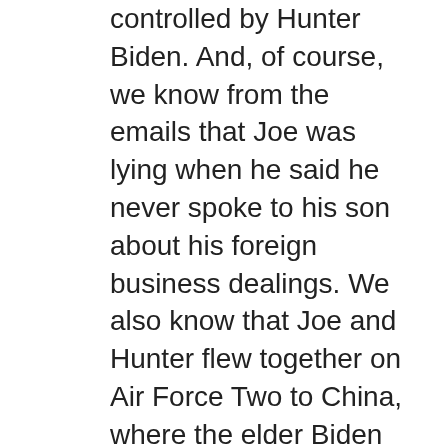controlled by Hunter Biden. And, of course, we know from the emails that Joe was lying when he said he never spoke to his son about his foreign business dealings. We also know that Joe and Hunter flew together on Air Force Two to China, where the elder Biden had a nice warm handshake with a Chinese executive who ended up being Hunter's business partner in the $1 billion investment fund Bohai Harvest RST. There is more, outlined during his segment on the show.
Sen. Johnson said that Joe Biden has been caught in repeated lies about